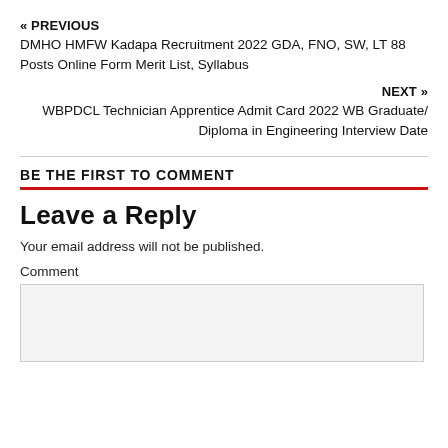« PREVIOUS
DMHO HMFW Kadapa Recruitment 2022 GDA, FNO, SW, LT 88 Posts Online Form Merit List, Syllabus
NEXT »
WBPDCL Technician Apprentice Admit Card 2022 WB Graduate/Diploma in Engineering Interview Date
BE THE FIRST TO COMMENT
Leave a Reply
Your email address will not be published.
Comment